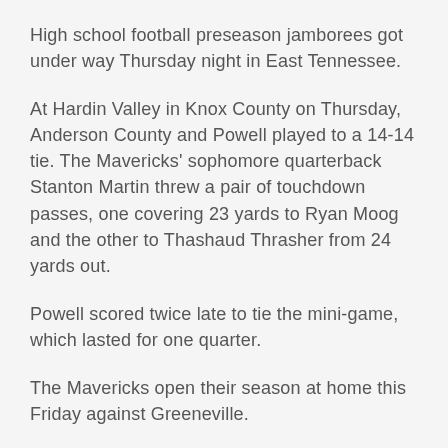High school football preseason jamborees got under way Thursday night in East Tennessee.
At Hardin Valley in Knox County on Thursday, Anderson County and Powell played to a 14-14 tie. The Mavericks' sophomore quarterback Stanton Martin threw a pair of touchdown passes, one covering 23 yards to Ryan Moog and the other to Thashaud Thrasher from 24 yards out.
Powell scored twice late to tie the mini-game, which lasted for one quarter.
The Mavericks open their season at home this Friday against Greeneville.